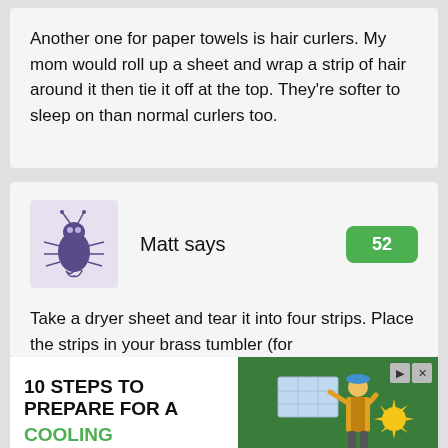Another one for paper towels is hair curlers. My mom would roll up a sheet and wrap a strip of hair around it then tie it off at the top. They’re softer to sleep on than normal curlers too.
[Figure (illustration): Avatar illustration of a purple bug/insect character on a light purple background]
Matt says
52
Take a dryer sheet and tear it into four strips. Place the strips in your brass tumbler (for
[Figure (infographic): Advertisement: 10 STEPS TO PREPARE FOR A COOLING EMERGENCY — Sunbelt Rentals ad with worker and solar panels on green background]